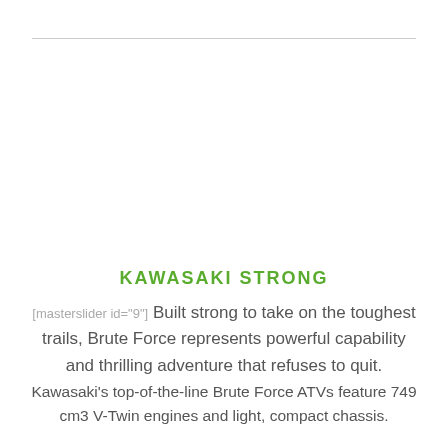KAWASAKI STRONG
[masterslider id="9"] Built strong to take on the toughest trails, Brute Force represents powerful capability and thrilling adventure that refuses to quit.
Kawasaki's top-of-the-line Brute Force ATVs feature 749 cm3 V-Twin engines and light, compact chassis.